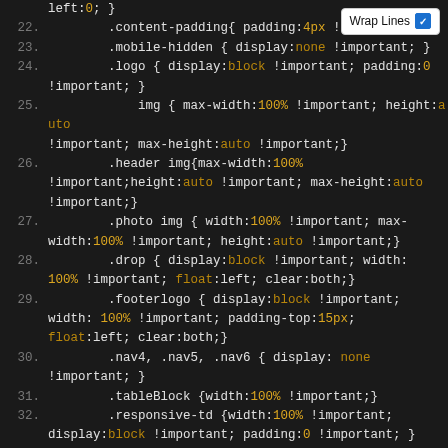[Figure (screenshot): Code editor screenshot showing CSS code lines 22-40 with syntax highlighting on dark background, with a 'Wrap Lines' checkbox badge in top right corner.]